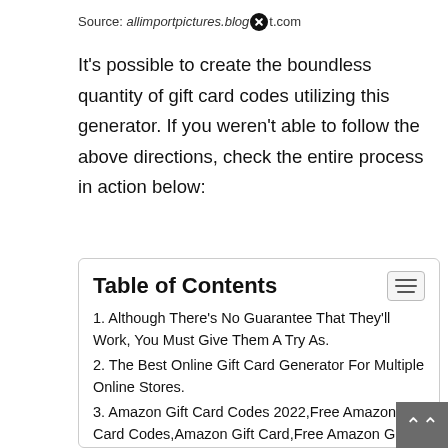Source: allimportpictures.blog[x]t.com
It's possible to create the boundless quantity of gift card codes utilizing this generator. If you weren't able to follow the above directions, check the entire process in action below:
Table of Contents
1. Although There's No Guarantee That They'll Work, You Must Give Them A Try As.
2. The Best Online Gift Card Generator For Multiple Online Stores.
3. Amazon Gift Card Codes 2022,Free Amazon Gift Card Codes,Amazon Gift Card,Free Amazon Gift Card Codes 2022,Amazon Gift Card Free,Free Amazon Gift Card,Free Am.
4. Dec 4, 2021, 5:28:18 A[x]